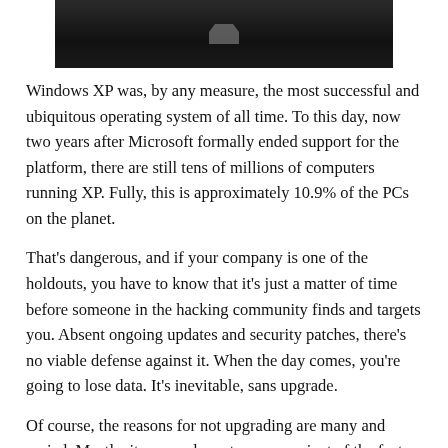[Figure (photo): Partial image of a dark background, appears to be a person or object photographed against a dark setting, only the bottom portion visible.]
Windows XP was, by any measure, the most successful and ubiquitous operating system of all time. To this day, now two years after Microsoft formally ended support for the platform, there are still tens of millions of computers running XP. Fully, this is approximately 10.9% of the PCs on the planet.
That's dangerous, and if your company is one of the holdouts, you have to know that it's just a matter of time before someone in the hacking community finds and targets you. Absent ongoing updates and security patches, there's no viable defense against it. When the day comes, you're going to lose data. It's inevitable, sans upgrade.
Of course, the reasons for not upgrading are many and varied. Mostly, it comes down to some variant of the fact that some companies are using legacy software that only runs on XP. An attempt to migrate it to Windows 10 would break the software. If the original vendor is no longer in business, and/or if the source code has been lost, or there's no one around anymore who understands it,